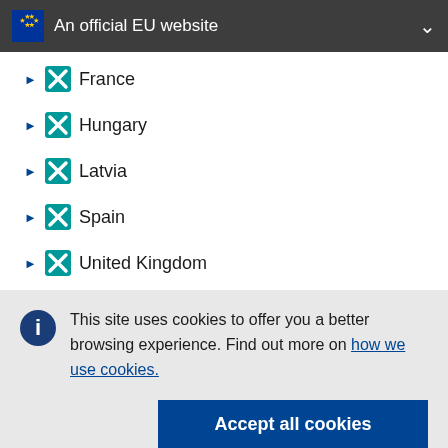An official EU website
France
Hungary
Latvia
Spain
United Kingdom
This site uses cookies to offer you a better browsing experience. Find out more on how we use cookies.
Accept all cookies
Accept only essential cookies